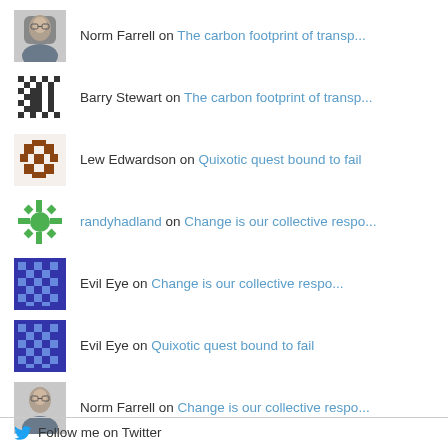Norm Farrell on The carbon footprint of transp...
Barry Stewart on The carbon footprint of transp...
Lew Edwardson on Quixotic quest bound to fail
randyhadland on Change is our collective respo...
Evil Eye on Change is our collective respo...
Evil Eye on Quixotic quest bound to fail
Norm Farrell on Change is our collective respo...
Follow me on Twitter